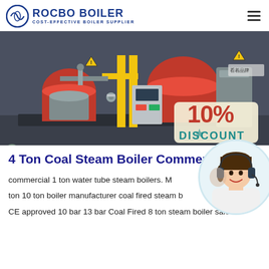ROCBO BOILER — COST-EFFECTIVE BOILER SUPPLIER
[Figure (photo): Industrial gas/coal fired steam boilers in a factory setting with red burner heads, yellow pipes, and a 10% DISCOUNT badge overlay in the bottom right corner.]
4 Ton Coal Steam Boiler Commercial B...
[Figure (photo): Customer service representative woman with headset smiling, partially overlapping the title and body text area.]
commercial 1 ton water tube steam boilers. M... ton 10 ton boiler manufacturer coal fired steam b... CE approved 10 bar 13 bar Coal Fired 8 ton steam boiler sale ...